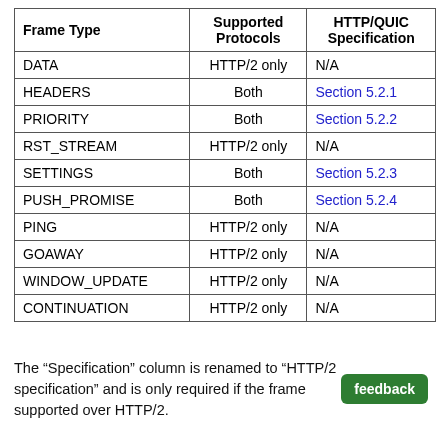| Frame Type | Supported Protocols | HTTP/QUIC Specification |
| --- | --- | --- |
| DATA | HTTP/2 only | N/A |
| HEADERS | Both | Section 5.2.1 |
| PRIORITY | Both | Section 5.2.2 |
| RST_STREAM | HTTP/2 only | N/A |
| SETTINGS | Both | Section 5.2.3 |
| PUSH_PROMISE | Both | Section 5.2.4 |
| PING | HTTP/2 only | N/A |
| GOAWAY | HTTP/2 only | N/A |
| WINDOW_UPDATE | HTTP/2 only | N/A |
| CONTINUATION | HTTP/2 only | N/A |
The “Specification” column is renamed to “HTTP/2 specification” and is only required if the frame supported over HTTP/2.